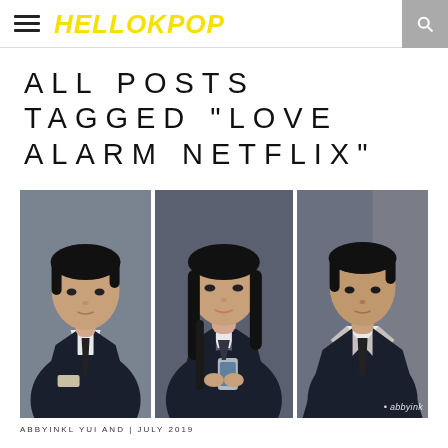HELLOKPOP
ALL POSTS TAGGED "LOVE ALARM NETFLIX"
[Figure (photo): Three actors from Love Alarm Netflix series in school uniforms — left: male actor looking sideways, center: female actress holding phone, right: male actor facing forward]
ABBYINKL YUI AND | July 2019